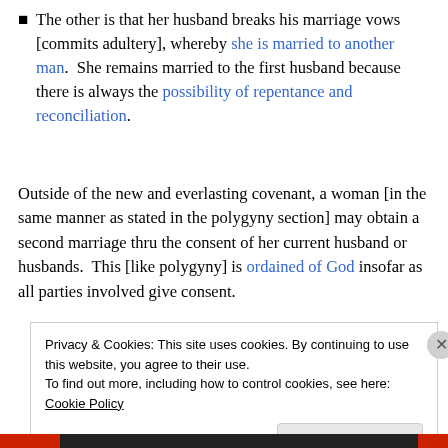The other is that her husband breaks his marriage vows [commits adultery], whereby she is married to another man.  She remains married to the first husband because there is always the possibility of repentance and reconciliation.
Outside of the new and everlasting covenant, a woman [in the same manner as stated in the polygyny section] may obtain a second marriage thru the consent of her current husband or husbands.  This [like polygyny] is ordained of God insofar as all parties involved give consent.
Privacy & Cookies: This site uses cookies. By continuing to use this website, you agree to their use.
To find out more, including how to control cookies, see here: Cookie Policy
Close and accept